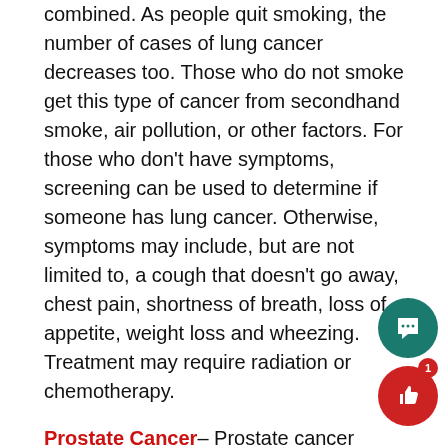combined. As people quit smoking, the number of cases of lung cancer decreases too. Those who do not smoke get this type of cancer from secondhand smoke, air pollution, or other factors. For those who don't have symptoms, screening can be used to determine if someone has lung cancer. Otherwise, symptoms may include, but are not limited to, a cough that doesn't go away, chest pain, shortness of breath, loss of appetite, weight loss and wheezing. Treatment may require radiation or chemotherapy.
Prostate Cancer– Prostate cancer begins in the prostate gland, usually as the type called adenocarcinoma. 1 in 8 men are diagnosed with prostate cancer during their lifetime, mostly in men at least 65 years old. Prostate cancer is the second leading cause of death in American men, after lung cancer. This type of cancer can be caused by DNA mutations, whi...